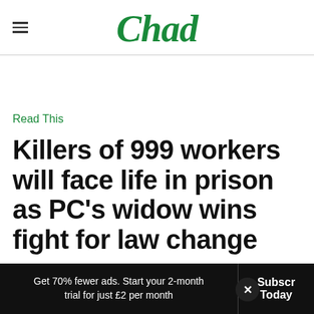Chad
Read This
Killers of 999 workers will face life in prison as PC's widow wins fight for law change
Get 70% fewer ads. Start your 2-month trial for just £2 per month
Subscribe Today